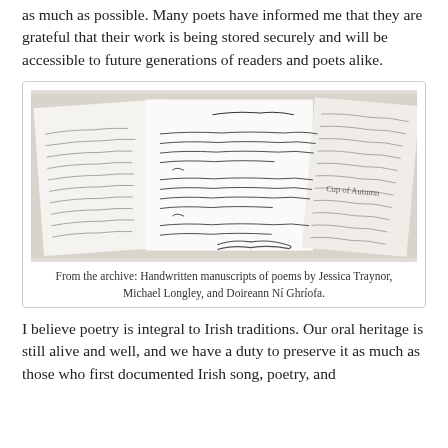as much as possible. Many poets have informed me that they are grateful that their work is being stored securely and will be accessible to future generations of readers and poets alike.
[Figure (photo): Handwritten manuscripts of poems by Jessica Traynor, Michael Longley, and Doireann Ni Ghriofa, shown as open notebooks with cursive handwriting.]
From the archive: Handwritten manuscripts of poems by Jessica Traynor, Michael Longley, and Doireann Ní Ghríofa.
I believe poetry is integral to Irish traditions. Our oral heritage is still alive and well, and we have a duty to preserve it as much as those who first documented Irish song, poetry, and